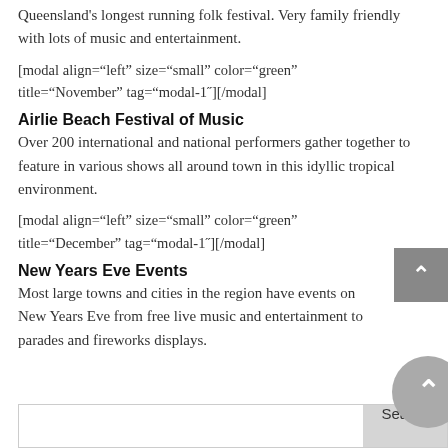Queensland's longest running folk festival. Very family friendly with lots of music and entertainment.
[modal align="left" size="small" color="green" title="November" tag="modal-1"][/modal]
Airlie Beach Festival of Music
Over 200 international and national performers gather together to feature in various shows all around town in this idyllic tropical environment.
[modal align="left" size="small" color="green" title="December" tag="modal-1"][/modal]
New Years Eve Events
Most large towns and cities in the region have events on New Years Eve from free live music and entertainment to parades and fireworks displays.